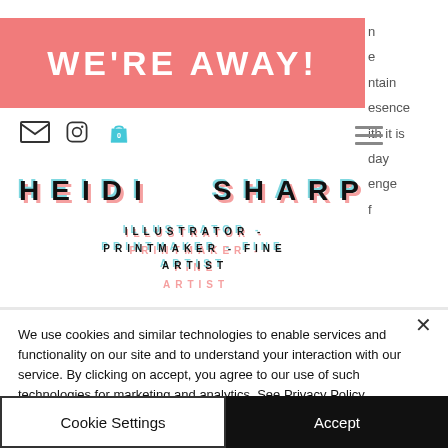WE'RE AWAY!
[Figure (screenshot): Website header with Heidi Sharp illustrator printmaker fine artist logo with icons]
We use cookies and similar technologies to enable services and functionality on our site and to understand your interaction with our service. By clicking on accept, you agree to our use of such technologies for marketing and analytics. See Privacy Policy